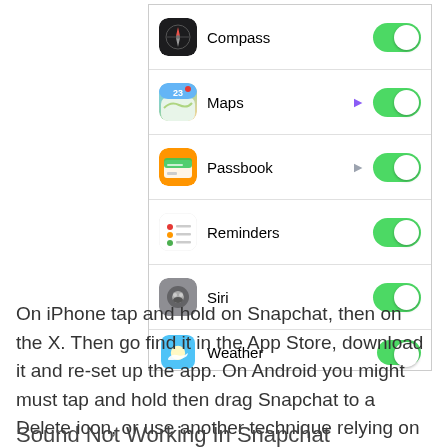[Figure (screenshot): iOS Settings Privacy Location Services list showing app toggles: Compass (on), Maps (on, purple arrow), Passbook (on, gray arrow), Reminders (on), Siri (on), Weather (on, partially visible)]
On iPhone tap and hold on Snapchat, then on the X. Then go find it in the App Store, download it and re-set up the app. On Android you might must tap and hold then drag Snapchat to a Delete icon, or use another technique relying on your cellphone.
Sound Not Working In Snapchat